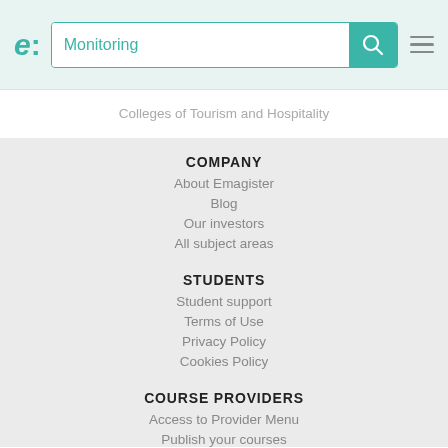e: Monitoring
Colleges of Tourism and Hospitality
COMPANY
About Emagister
Blog
Our investors
All subject areas
STUDENTS
Student support
Terms of Use
Privacy Policy
Cookies Policy
COURSE PROVIDERS
Access to Provider Menu
Publish your courses